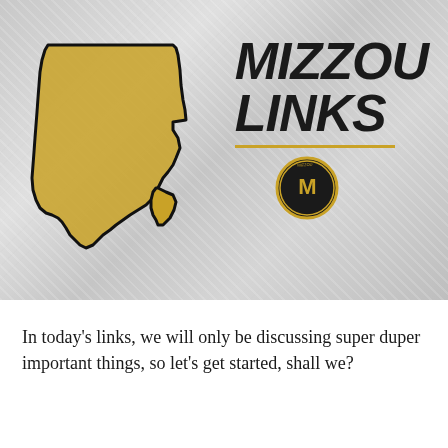[Figure (illustration): Mizzou Links branded graphic with gold Missouri state outline on a crumpled grey textured background, with bold italic 'MIZZOU LINKS' text in black, a gold horizontal line, and a circular Mizzou logo/seal below.]
In today's links, we will only be discussing super duper important things, so let's get started, shall we?